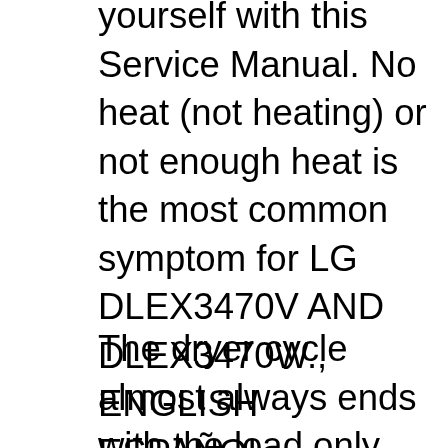yourself with this Service Manual. No heat (not heating) or not enough heat is the most common symptom for LG DLEX3470V AND DLEX3470W., ENGLISH ESPAÑOL oWnErвЂ™s ManUal DrYer Please read this manual carefully before operating your dryer and retain it for future reference. Dle3050* P/no. MFl67731009 DlG3051* www.lg. Page 2. SPECIAL FEATURES SPECIAL FEATURES Easy-to-USE Control Panel Rotate the cycle selector knob to select the desired dry cycle..
The dryer cycle almost always ends with the load only partially dried. This is true across all settings including Timed Dry. Often when we add time to